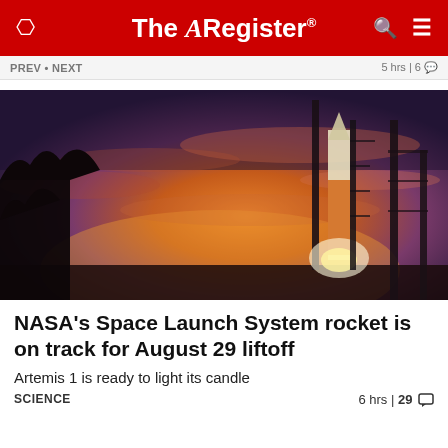The Register
PREV · NEXT   5 hrs | 6
[Figure (photo): NASA Space Launch System (SLS) rocket on the launch pad at dusk/sunset, illuminated against a dramatic purple and orange sky, with silhouetted trees and support towers visible.]
NASA's Space Launch System rocket is on track for August 29 liftoff
Artemis 1 is ready to light its candle
SCIENCE   6 hrs | 29